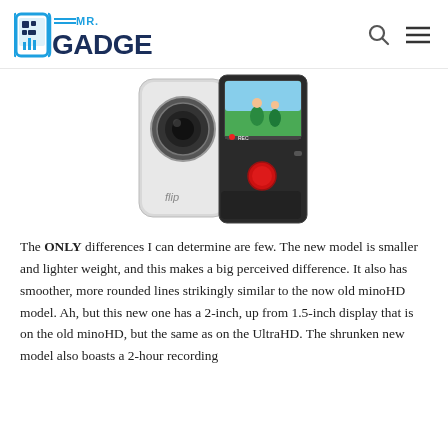MR. GADGET logo with search and menu icons
[Figure (photo): A Flip brand compact video camera shown from two angles — back view (silver/white body with lens) and front view (showing display screen with a video frame of people outdoors and red record button). The camera has 'flip' branding on the lower front.]
The ONLY differences I can determine are few.  The new model is smaller and lighter weight, and this makes a big perceived difference.  It also has smoother, more rounded lines strikingly similar to the now old minoHD model.  Ah, but this new one has a 2-inch, up from 1.5-inch display that is on the old minoHD, but the same as on the UltraHD.  The shrunken new model also boasts a 2-hour recording